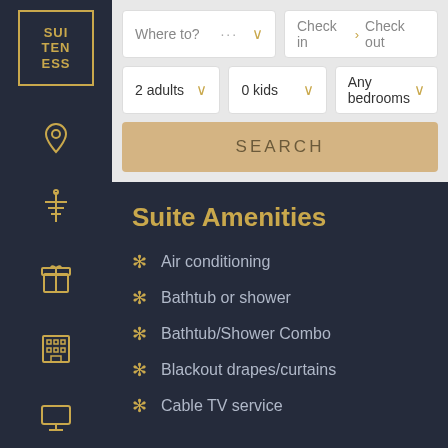[Figure (logo): Suiteness logo: SUI TEN ESS in gold text inside a gold bordered square on dark navy background]
[Figure (infographic): Sidebar navigation icons: location pin, airport/tower, gift box, building/hotel, screen/monitor, person/user — all in gold outline style on dark navy background]
Where to?
Check in > Check out
2 adults
0 kids
Any bedrooms
SEARCH
Suite Amenities
Air conditioning
Bathtub or shower
Bathtub/Shower Combo
Blackout drapes/curtains
Cable TV service